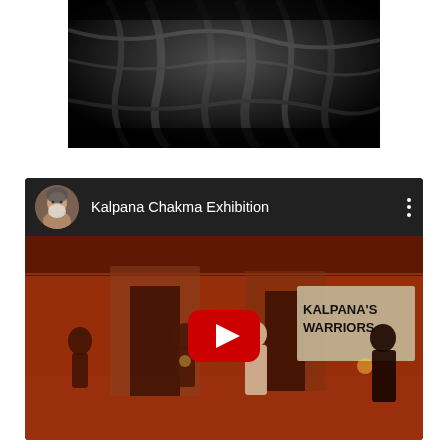[Figure (photo): Black and white close-up photograph of dark, textured fabric or draped material, upper portion of page]
[Figure (screenshot): YouTube video embed showing 'Kalpana Chakma Exhibition' with red-toned thumbnail of people at an art exhibition with 'KALPANA'S WARRIORS' sign visible, a YouTube play button overlay, channel avatar showing an elderly man with white beard, and three-dot menu icon]